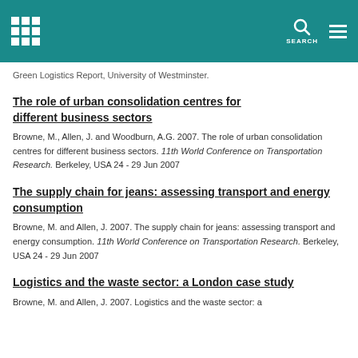Green Logistics Report, University of Westminster.
The role of urban consolidation centres for different business sectors
Browne, M., Allen, J. and Woodburn, A.G. 2007. The role of urban consolidation centres for different business sectors. 11th World Conference on Transportation Research. Berkeley, USA 24 - 29 Jun 2007
The supply chain for jeans: assessing transport and energy consumption
Browne, M. and Allen, J. 2007. The supply chain for jeans: assessing transport and energy consumption. 11th World Conference on Transportation Research. Berkeley, USA 24 - 29 Jun 2007
Logistics and the waste sector: a London case study
Browne, M. and Allen, J. 2007. Logistics and the waste sector: a